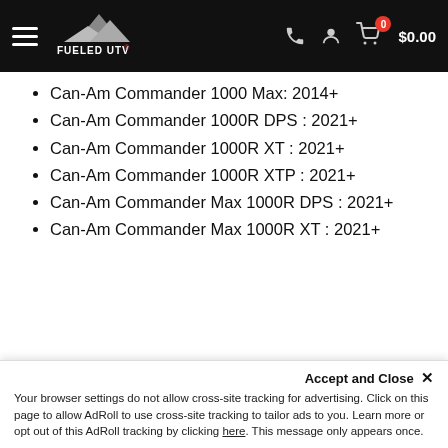Fueled UTV — Navigation header with logo, phone, user, and cart icons showing $0.00
Can-Am Commander 1000 Max: 2014+
Can-Am Commander 1000R DPS : 2021+
Can-Am Commander 1000R XT : 2021+
Can-Am Commander 1000R XTP : 2021+
Can-Am Commander Max 1000R DPS : 2021+
Can-Am Commander Max 1000R XT : 2021+
Accept and Close ✕
Your browser settings do not allow cross-site tracking for advertising. Click on this page to allow AdRoll to use cross-site tracking to tailor ads to you. Learn more or opt out of this AdRoll tracking by clicking here. This message only appears once.